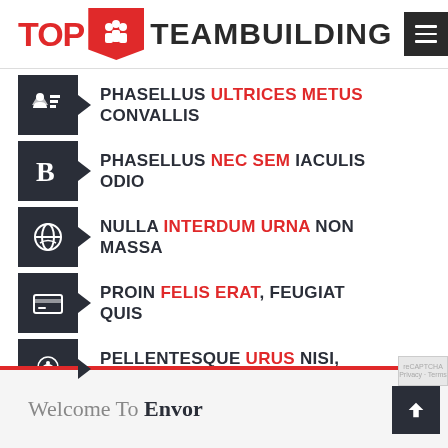[Figure (logo): Top Teambuilding logo with red TOP text, red pin icon with people silhouettes, and dark TEAMBUILDING text. Hamburger menu icon on the right.]
PHASELLUS ULTRICES METUS CONVALLIS
PHASELLUS NEC SEM IACULIS ODIO
NULLA INTERDUM URNA NON MASSA
PROIN FELIS ERAT, FEUGIAT QUIS
PELLENTESQUE URUS NISI, LUCTUS NEC
Welcome To Envor